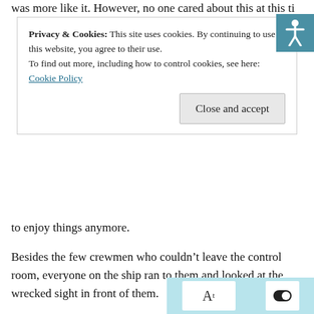was more like it. However, no one cared about this at this ti...
Privacy & Cookies: This site uses cookies. By continuing to use this website, you agree to their use. To find out more, including how to control cookies, see here: Cookie Policy
Close and accept
to enjoy things anymore.
Besides the few crewmen who couldn't leave the control room, everyone on the ship ran to them and looked at the wrecked sight in front of them.
“What happened? The fireworks were so pretty, but the noise was scary.” Jiang LingXuan was panting from running here.
Wang XuTong’s tone was a little reproachful. “Didn’t I tell you to stay in the kitchen? What if it was dangerous here?”
“B-but the chefs all ran out, and I was too scared to stay there alone.” Jiang LingXuan moved closer to him. “Xu... happened? When I think about these past few days… it’s so